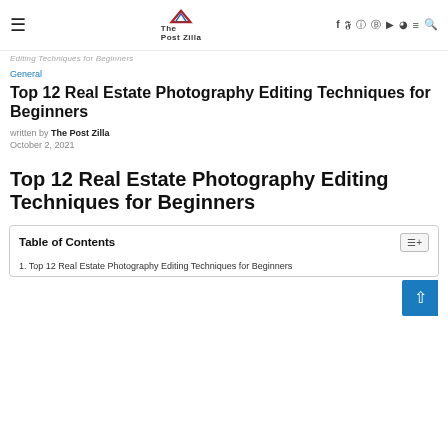The Post Zilla — navigation bar with hamburger, logo, social icons (f, twitter, instagram, pinterest, youtube, snapchat), menu, search
Editing Techniques for Beginners
General
Top 12 Real Estate Photography Editing Techniques for Beginners
written by The Post Zilla
October 2, 2021
Top 12 Real Estate Photography Editing Techniques for Beginners
| Table of Contents |
| --- |
| 1. Top 12 Real Estate Photography Editing Techniques for Beginners |